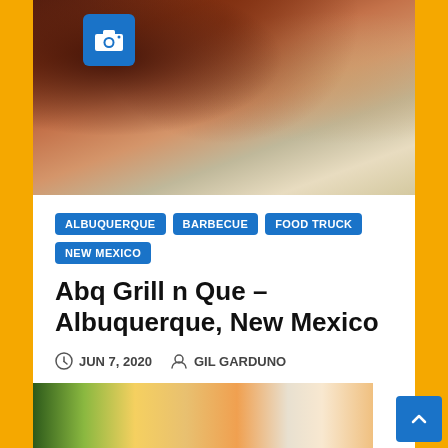[Figure (photo): Close-up photo of barbecue meat wrapped in foil, top portion of article card image]
ALBUQUERQUE
BARBECUE
FOOD TRUCK
NEW MEXICO
Abq Grill n Que – Albuquerque, New Mexico
JUN 7, 2020   GIL GARDUNO
6 October 2020: From the Abq Grill n Que Facebook page – These unique times have forced us to make…
[Figure (photo): Close-up photo of colorful noodle/vegetable dish at bottom of page]